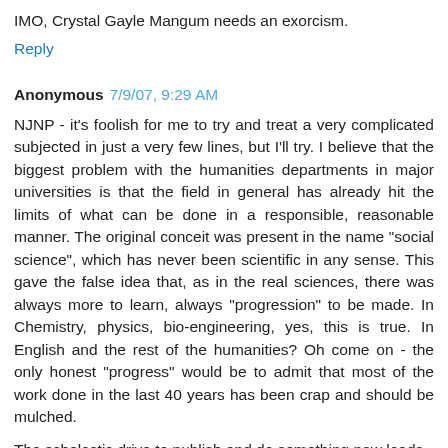IMO, Crystal Gayle Mangum needs an exorcism.
Reply
Anonymous  7/9/07, 9:29 AM
NJNP - it's foolish for me to try and treat a very complicated subjected in just a very few lines, but I'll try. I believe that the biggest problem with the humanities departments in major universities is that the field in general has already hit the limits of what can be done in a responsible, reasonable manner. The original conceit was present in the name "social science", which has never been scientific in any sense. This gave the false idea that, as in the real sciences, there was always more to learn, always "progression" to be made. In Chemistry, physics, bio-engineering, yes, this is true. In English and the rest of the humanities? Oh come on - the only honest "progress" would be to admit that most of the work done in the last 40 years has been crap and should be mulched.
The scholastic drive to publish and do something new leads